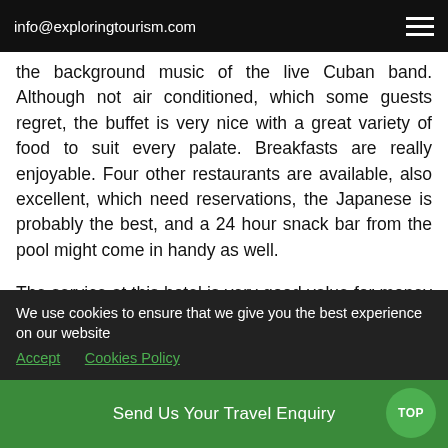info@exploringtourism.com
the background music of the live Cuban band. Although not air conditioned, which some guests regret, the buffet is very nice with a great variety of food to suit every palate. Breakfasts are really enjoyable. Four other restaurants are available, also excellent, which need reservations, the Japanese is probably the best, and a 24 hour snack bar from the pool might come in handy as well.
The service at this hotel is very good value for money and if you are willing to pay a little more for top class service you should get the Royal rooms and service section. Pool bar staff comes around constantly with fresh drinks and fruit, reservations for restaurants are much easier and at
We use cookies to ensure that we give you the best experience on our website   Accept   Cookies Policy
Send Us Your Travel Enquiry